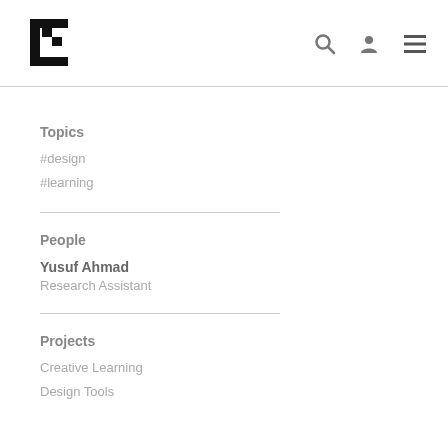[Figure (logo): Stylized geometric logo made of black angular step shapes]
Topics
#design
#learning
People
Yusuf Ahmad
Research Assistant
Projects
Creative Learning
Design Tools